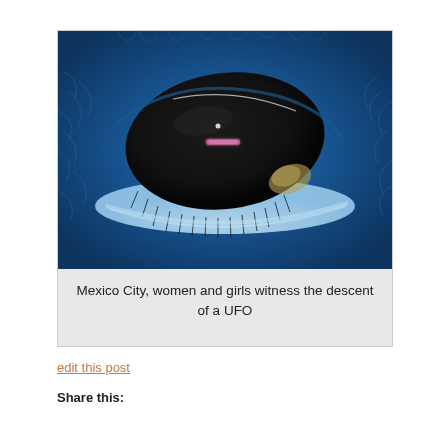[Figure (photo): Close-up photo of an eye (animal or stylized) with blue/teal textured surroundings and a dark oval iris/pupil area with a small glowing pinkish-purple light and thin curved line visible on the dark surface.]
Mexico City, women and girls witness the descent of a UFO
edit this post
Share this: